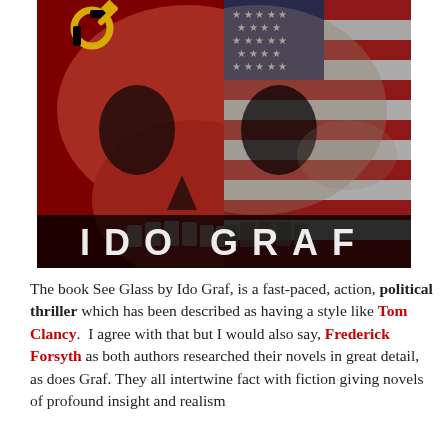[Figure (illustration): Book cover for 'See Glass' by Ido Graf. A dramatic skull image split down the middle — left half painted red with a Soviet hammer-and-sickle emblem in yellow, right half overlaid with the American flag (stars and stripes). The author name 'IDO GRAF' is displayed in large distressed white letters at the bottom on a black background.]
The book See Glass by Ido Graf, is a fast-paced, action, political thriller which has been described as having a style like Tom Clancy. I agree with that but I would also say, Frederick Forsyth as both authors researched their novels in great detail, as does Graf. They all intertwine fact with fiction giving novels of profound insight and realism